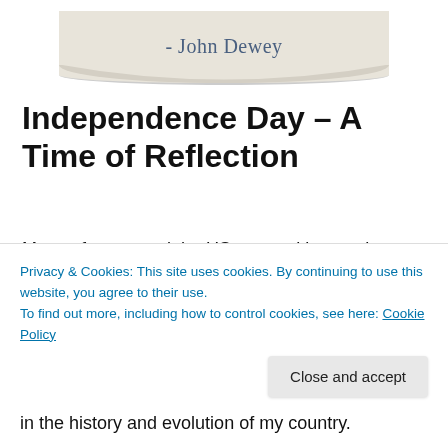[Figure (illustration): A torn paper or tape note with handwritten-style text '- John Dewey' on a light beige background, simulating a sticky note or tape element.]
Independence Day – A Time of Reflection
Many of us around the US are packing our bags, filling our tanks or hitting the grocery and liquor stores to prepare for this well celebrated and much longed for holiday.
Independence Day commemorates the adoption of the Declaration of Independence 241 years ago on July 4
in the history and evolution of my country.
Privacy & Cookies: This site uses cookies. By continuing to use this website, you agree to their use.
To find out more, including how to control cookies, see here: Cookie Policy